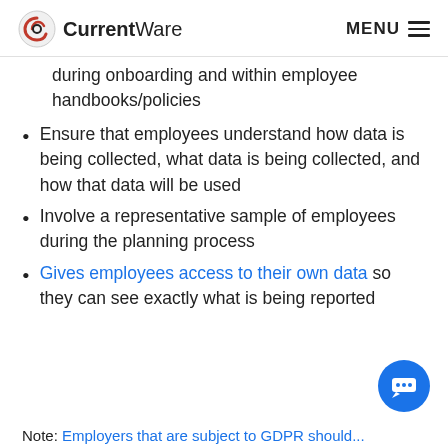CurrentWare  MENU
during onboarding and within employee handbooks/policies
Ensure that employees understand how data is being collected, what data is being collected, and how that data will be used
Involve a representative sample of employees during the planning process
Gives employees access to their own data so they can see exactly what is being reported
Note: Employers that are subject to GDPR should...